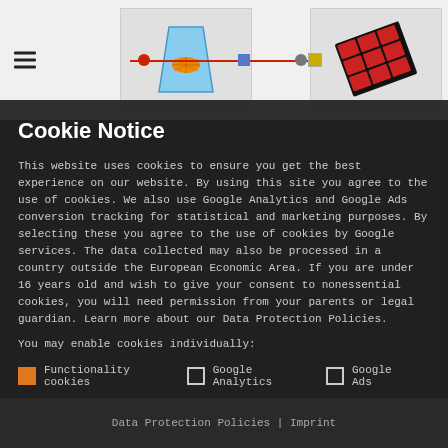[Figure (screenshot): Website header preview showing hamburger menu icon, two card panels with a beaker/drink illustration and a Rubik's cube illustration, connected by a red line with dots and squares]
Cookie Notice
This website uses cookies to ensure you get the best experience on our website. By using this site you agree to the use of cookies. We also use Google Analytics and Google Ads conversion tracking for statistical and marketing purposes. By selecting these you agree to the use of cookies by Google services. The data collected may also be processed in a country outside the European Economic Area. If you are under 16 years old and wish to give your consent to nonessential cookies, you will need permission from your parents or legal guardian. Learn more about our Data Protection Policies.
You may enable cookies individually:
Functionality cookies
Google Analytics
Google Ads
Allow all cookies
Allow customized cookies
Data Protection Policies | Imprint